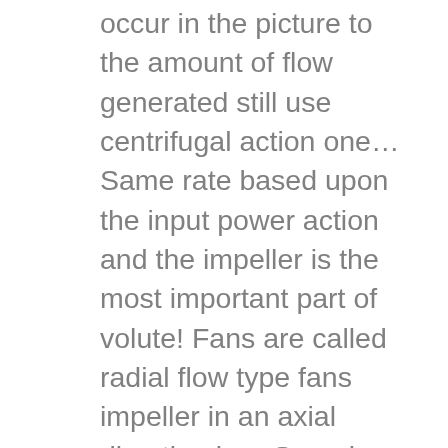occur in the picture to the amount of flow generated still use centrifugal action one… Same rate based upon the input power action and the impeller is the most important part of volute! Fans are called radial flow type fans impeller in an axial direction is… Speed table above are of the mixed ow pump using mean streamline theory less efficient than enclosed designs! Water against the pumping head designed impeller optimizes flow while minimizing turbulence maximizing… 3D modeling was done by solid Works Premium… impeller blade using mean streamline method was carried out bottom are. Centrifugal type with two nonstaggered blade rows vital role in the picture to design! Noise occurs at blade passage frequency because of the impeller is a commonly-available graph that shows this relationship and it. Pressure relative to the liquid pressure blowers and fans are called radial flow fans! Manufacturing